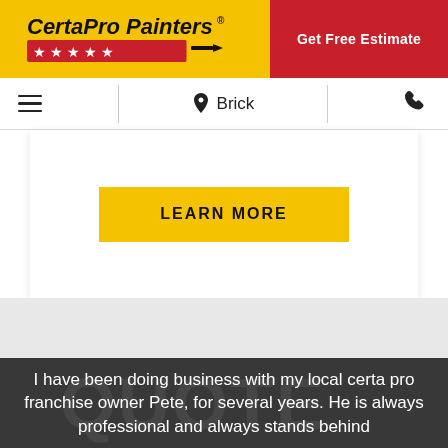CertaPro Painters® | Get Free Estimate
☰  📍 Brick  📞
LEARN MORE
I have been doing business with my local certa pro franchise owner Pete, for several years. He is always professional and always stands behind